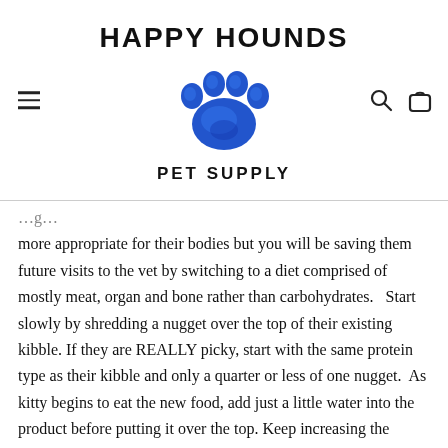[Figure (logo): Happy Hounds Pet Supply logo with blue paw print and bold black text]
more appropriate for their bodies but you will be saving them future visits to the vet by switching to a diet comprised of mostly meat, organ and bone rather than carbohydrates.   Start slowly by shredding a nugget over the top of their existing kibble. If they are REALLY picky, start with the same protein type as their kibble and only a quarter or less of one nugget.  As kitty begins to eat the new food, add just a little water into the product before putting it over the top. Keep increasing the nugget and